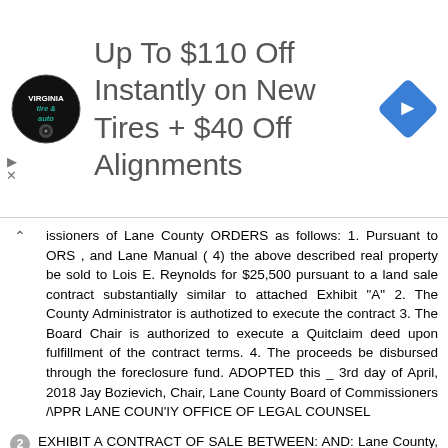[Figure (other): Advertisement banner: Virginia Tire & Auto logo, text 'Up To $110 Off Instantly on New Tires + $40 Off Alignments', blue diamond navigation arrow icon]
issioners of Lane County ORDERS as follows: 1. Pursuant to ORS , and Lane Manual ( 4) the above described real property be sold to Lois E. Reynolds for $25,500 pursuant to a land sale contract substantially similar to attached Exhibit "A" 2. The County Administrator is authotized to execute the contract 3. The Board Chair is authorized to execute a Quitclaim deed upon fulfillment of the contract terms. 4. The proceeds be disbursed through the foreclosure fund. ADOPTED this _ 3rd day of April, 2018 Jay Bozievich, Chair, Lane County Board of Commissioners /\PPR LANE COUN'IY OFFICE OF LEGAL COUNSEL
EXHIBIT A CONTRACT OF SALE BETWEEN: AND: Lane County, a political subdivision of the State of Oregon ( County ) 125 E. 8th Avenue Eugene, Oregon Lois E. Reynolds, Claiming Successor to the Estate of Barney Stubbs 2548 J St. Springfield, OR IN CONSIDERATION OF